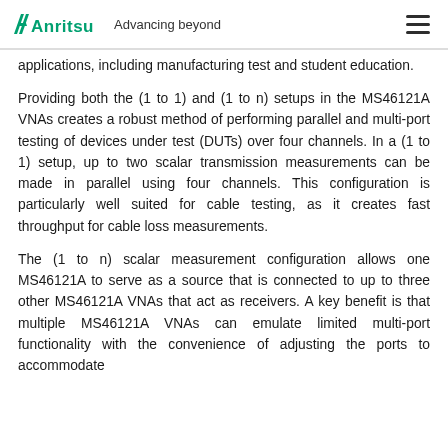Anritsu Advancing beyond
applications, including manufacturing test and student education.
Providing both the (1 to 1) and (1 to n) setups in the MS46121A VNAs creates a robust method of performing parallel and multi-port testing of devices under test (DUTs) over four channels. In a (1 to 1) setup, up to two scalar transmission measurements can be made in parallel using four channels. This configuration is particularly well suited for cable testing, as it creates fast throughput for cable loss measurements.
The (1 to n) scalar measurement configuration allows one MS46121A to serve as a source that is connected to up to three other MS46121A VNAs that act as receivers. A key benefit is that multiple MS46121A VNAs can emulate limited multi-port functionality with the convenience of adjusting the ports to accommodate